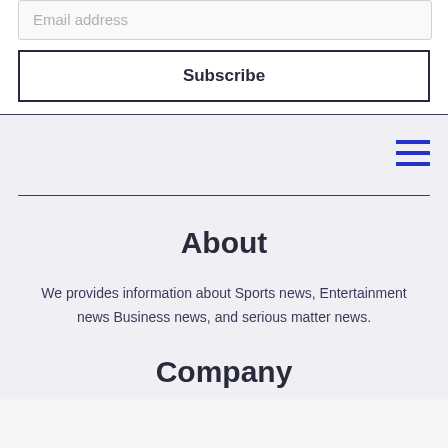Email address
Subscribe
[Figure (other): Hamburger menu icon (three horizontal blue lines)]
About
We provides information about Sports news, Entertainment news Business news, and serious matter news.
Company